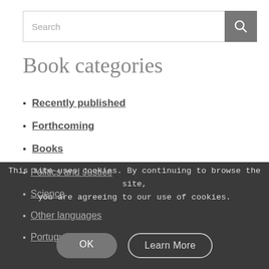Search
Book categories
Recently published
Forthcoming
Books
Openness
Education
Music
Politics and Justice
Science
Other languages
Português
This site uses cookies. By continuing to browse the site, you are agreeing to our use of cookies.
OK
Learn More